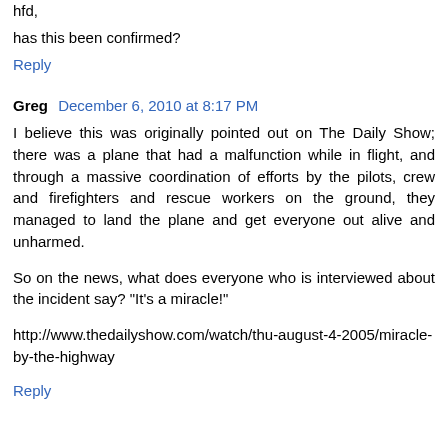hfd,
has this been confirmed?
Reply
Greg  December 6, 2010 at 8:17 PM
I believe this was originally pointed out on The Daily Show; there was a plane that had a malfunction while in flight, and through a massive coordination of efforts by the pilots, crew and firefighters and rescue workers on the ground, they managed to land the plane and get everyone out alive and unharmed.
So on the news, what does everyone who is interviewed about the incident say? "It's a miracle!"
http://www.thedailyshow.com/watch/thu-august-4-2005/miracle-by-the-highway
Reply